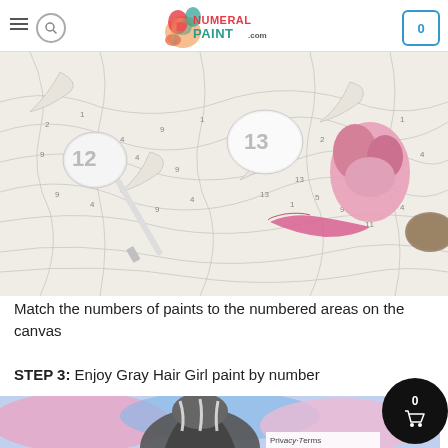Numeral Paint .com — navigation header with hamburger, search, logo, and cart (0)
[Figure (photo): Close-up photo of paint-by-number canvas with numbered sections, paint brushes, and pink paint blobs. Paint pots with numbers 12, 13 visible.]
Match the numbers of paints to the numbered areas on the canvas
STEP 3: Enjoy Gray Hair Girl paint by number
[Figure (photo): Bottom portion of a colorful paint-by-number artwork showing gray hair girl illustration with pink and blue background colors.]